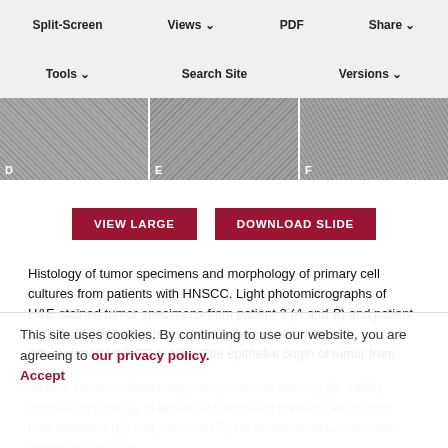[Figure (screenshot): Website toolbar with Split-Screen, Views, PDF, Share buttons]
[Figure (screenshot): Second toolbar row with Tools, Search Site, Versions buttons]
[Figure (photo): Microscopy image strip panels D, E, F showing cell cultures]
[Figure (screenshot): VIEW LARGE and DOWNLOAD SLIDE buttons]
Histology of tumor specimens and morphology of primary cell cultures from patients with HNSCC. Light photomicrographs of H&E-stained tumor specimens from patient 3 (A and B) and patient 4 (D and E), showing representative areas of moderately differentiated HNSCC (×400). The epithelial origin of tumor from patient 3 was confirmed by pan cytokeratin staining (B, ×400). Typical morphology of epithelial colonies in primary cell cultures from patient 3 (C) and patient 4 (F), taken under phase-contrast microscopy (×320).
This site uses cookies. By continuing to use our website, you are agreeing to our privacy policy.
Accept